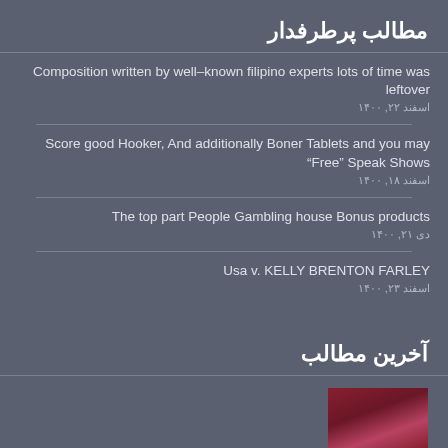مطالب پرطرفدار
Composition written by well–known filipino experts lots of time was leftover
اسفند ۲۲, ۱۴۰۰
Score good Hooker, And additionally Boner Tablets and you may "Free" Speak Shows
اسفند ۱۸, ۱۴۰۰
The top part People Gambling house Bonus products
دی ۲۱, ۱۴۰۰
Usa v. KELLY BRENTON FARLEY
اسفند ۲۳, ۱۴۰۰
آخرین مطالب
[Figure (photo): Partially visible thumbnail image at bottom right, appears to show a red/dark red textured surface]